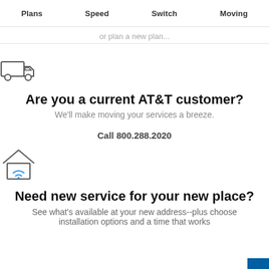Plans   Speed   Switch   Moving
or plan a new plan...
[Figure (illustration): Delivery truck icon (outline)]
Are you a current AT&T customer?
We'll make moving your services a breeze.
Call 800.288.2020
[Figure (illustration): House with wifi signal icon]
Need new service for your new place?
See what's available at your new address--plus choose installation options and a time that works